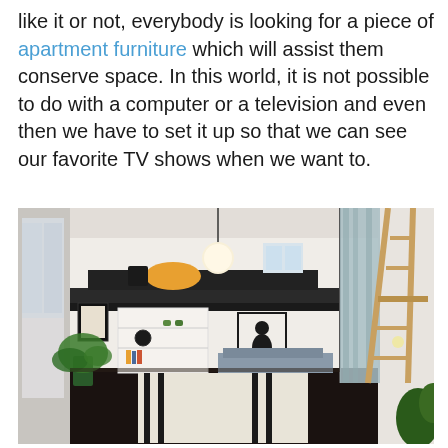like it or not, everybody is looking for a piece of apartment furniture which will assist them conserve space. In this world, it is not possible to do with a computer or a television and even then we have to set it up so that we can see our favorite TV shows when we want to.
[Figure (photo): Interior photo of a compact loft studio apartment featuring a raised loft bed with dark mattress and colorful pillows, a hanging globe pendant light, built-in white shelving underneath, a blue-gray curtain divider, a wooden ladder leaning against the wall on the right, a small desk lamp, green plants, and a striped rug on a dark floor.]